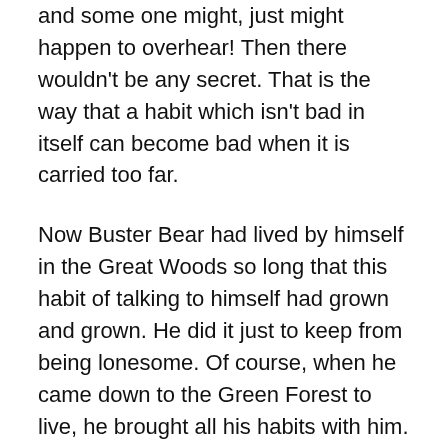and some one might, just might happen to overhear! Then there wouldn't be any secret. That is the way that a habit which isn't bad in itself can become bad when it is carried too far.
Now Buster Bear had lived by himself in the Great Woods so long that this habit of talking to himself had grown and grown. He did it just to keep from being lonesome. Of course, when he came down to the Green Forest to live, he brought all his habits with him. That is one thing about habits,–you always take them with you wherever you go. So Buster brought this habit of talking to himself down to the Green Forest, where he had many more neighbors than he had in the Great Woods.